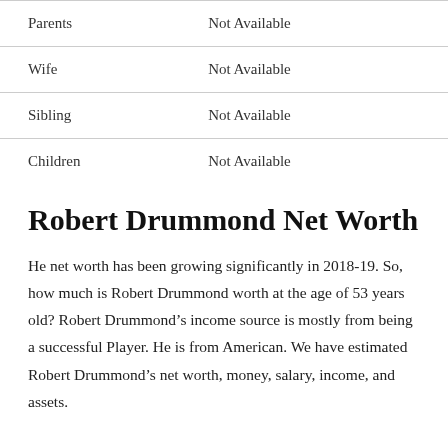| Parents | Not Available |
| Wife | Not Available |
| Sibling | Not Available |
| Children | Not Available |
Robert Drummond Net Worth
He net worth has been growing significantly in 2018-19. So, how much is Robert Drummond worth at the age of 53 years old? Robert Drummond’s income source is mostly from being a successful Player. He is from American. We have estimated Robert Drummond’s net worth, money, salary, income, and assets.